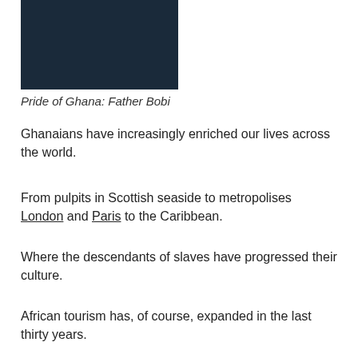[Figure (photo): Dark navy/black image, appears to be a portrait photograph cropped at the bottom of the frame]
Pride of Ghana: Father Bobi
Ghanaians have increasingly enriched our lives across the world.
From pulpits in Scottish seaside to metropolises London and Paris to the Caribbean.
Where the descendants of slaves have progressed their culture.
African tourism has, of course, expanded in the last thirty years.
With intrepid travellers seeking out still authentic parts of the world.